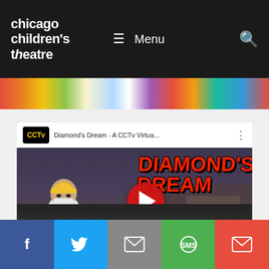chicago children's theatre — Menu
[Figure (screenshot): YouTube-style video embed for 'Diamond's Dream - A CCTv Virtua...' featuring animated character illustration and red play button]
[Figure (screenshot): Partial preview of another section below the video]
Facebook share button
Twitter share button
Email share button
SMS share button
Email/share button